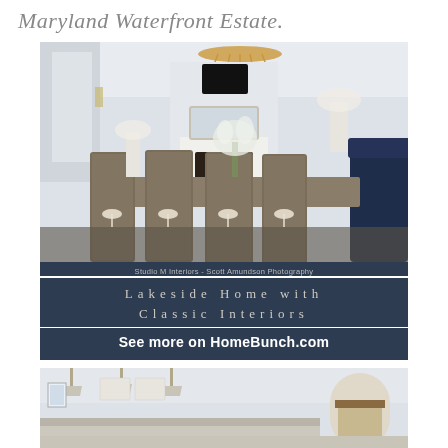Maryland Waterfront Estate.
[Figure (photo): Elegant dining room with wicker high-back chairs tied with white bows around a long wooden table, gold chandelier overhead, TV on wall, white fireplace, navy blue sofa to right, white floral arrangement in center]
Studio M Interiors - Scott Amundson Photography
Lakeside Home with Classic Interiors
See more on HomeBunch.com
[Figure (photo): Kitchen interior with pendant lights and white arched doorway visible]